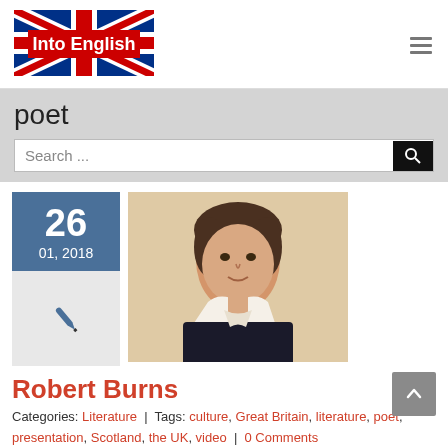[Figure (logo): Into English website logo with Union Jack flag background and red banner with white text 'Into English']
poet
Search ...
[Figure (photo): Portrait painting of Robert Burns, a young man in historical dress with white collar]
26
01, 2018
Robert Burns
Categories: Literature | Tags: culture, Great Britain, literature, poet, presentation, Scotland, the UK, video | 0 Comments